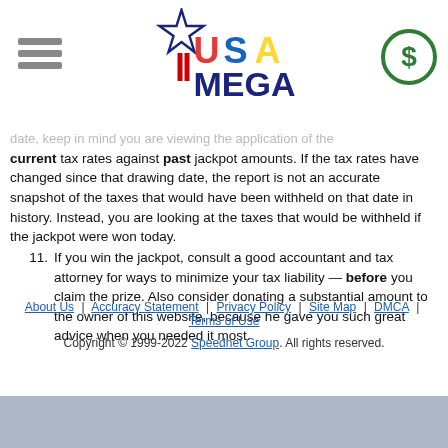USA MEGA logo header
date, keep in mind you are viewing the application of the current tax rates against past jackpot amounts. If the tax rates have changed since that drawing date, the report is not an accurate snapshot of the taxes that would have been withheld on that date in history. Instead, you are looking at the taxes that would be withheld if the jackpot were won today.
11. If you win the jackpot, consult a good accountant and tax attorney for ways to minimize your tax liability — before you claim the prize. Also consider donating a substantial amount to the owner of this website, because he gave you such great advice when you needed it most.
About Us | Accuracy Statement | Privacy Policy | Site Map | DMCA | Terms of Use
Copyright © 1999-2022 Speednet Group. All rights reserved.